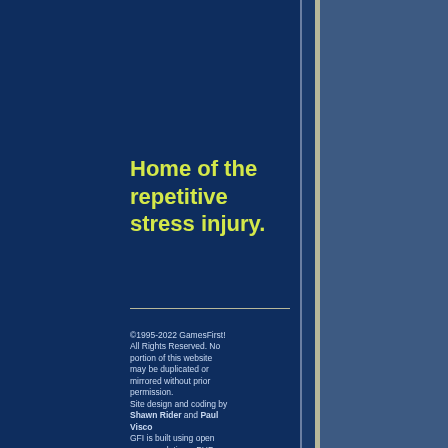Home of the repetitive stress injury.
©1995-2022 GamesFirst! All Rights Reserved. No portion of this website may be duplicated or mirrored without prior permission. Site design and coding by Shawn Rider and Paul Visco GFI is built using open source solutions: PHP, MySQL, and a custom CMS.